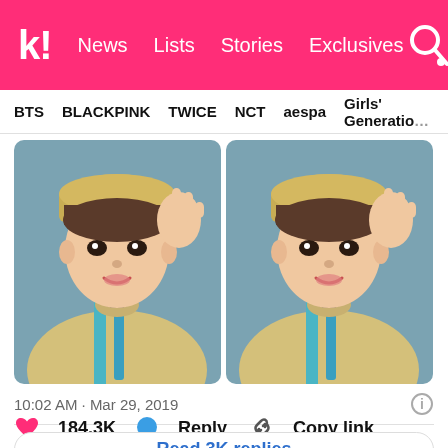k! News Lists Stories Exclusives
BTS BLACKPINK TWICE NCT aespa Girls' Generation
[Figure (photo): Two side-by-side selfie photos of a young person wearing a yellow cap and cream-colored outfit with a blue strap, making a peace sign, against a blue-gray background.]
10:02 AM · Mar 29, 2019
184.3K  Reply  Copy link
Read 3K replies